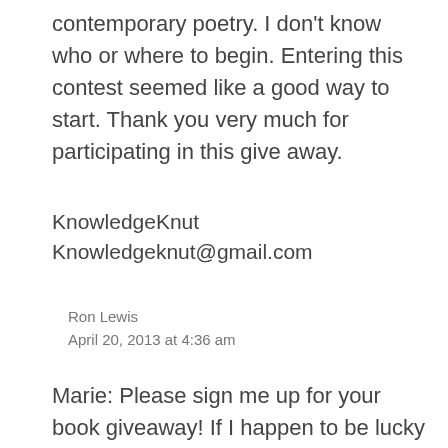contemporary poetry. I don't know who or where to begin. Entering this contest seemed like a good way to start. Thank you very much for participating in this give away.
KnowledgeKnut
Knowledgeknut@gmail.com
Ron Lewis
April 20, 2013 at 4:36 am
Marie: Please sign me up for your book giveaway! If I happen to be lucky enough to be an honored winner this year, I will thank you personally and also through the Vermont Poetry